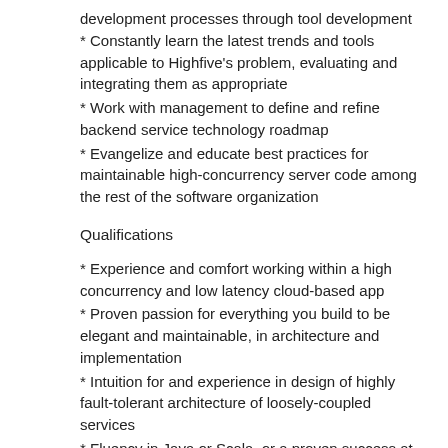development processes through tool development
* Constantly learn the latest trends and tools applicable to Highfive's problem, evaluating and integrating them as appropriate
* Work with management to define and refine backend service technology roadmap
* Evangelize and educate best practices for maintainable high-concurrency server code among the rest of the software organization
Qualifications
* Experience and comfort working within a high concurrency and low latency cloud-based app
* Proven passion for everything you build to be elegant and maintainable, in architecture and implementation
* Intuition for and experience in design of highly fault-tolerant architecture of loosely-coupled services
* Fluency in Java or Scala, or a proven success at quickly learning a new programming language
* Strong individual contributor, self-motivated, and a proven team player
* Proven ability to work and thrive and lead...